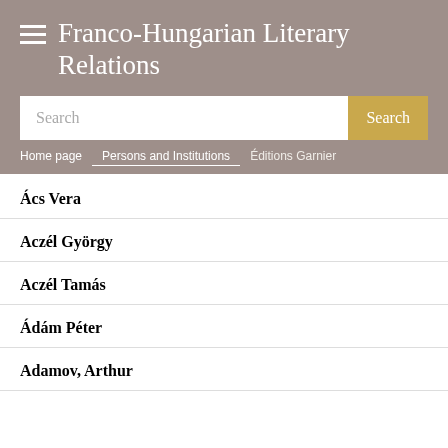Franco-Hungarian Literary Relations
Search
Home page | Persons and Institutions | Éditions Garnier
Ács Vera
Aczél György
Aczél Tamás
Ádám Péter
Adamov, Arthur